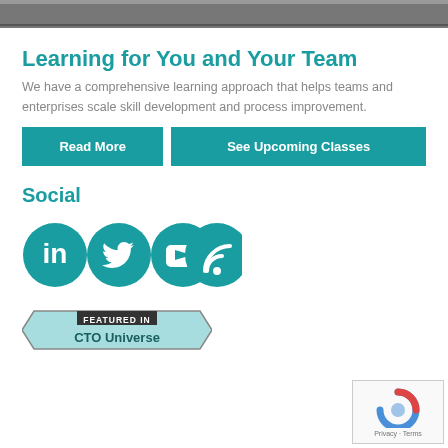[Figure (photo): Dark photograph banner at the top of the page]
Learning for You and Your Team
We have a comprehensive learning approach that helps teams and enterprises scale skill development and process improvement.
Read More
See Upcoming Classes
Social
[Figure (illustration): Four teal circular social media icons: LinkedIn, Twitter, YouTube, RSS feed]
[Figure (logo): Featured in CTO Universe badge/banner]
[Figure (other): reCAPTCHA widget with Privacy and Terms text]